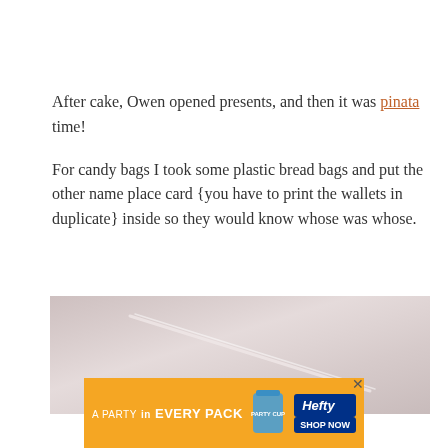After cake, Owen opened presents, and then it was pinata time!
For candy bags I took some plastic bread bags and put the other name place card {you have to print the wallets in duplicate} inside so they would know whose was whose.
[Figure (photo): Close-up photo of a transparent plastic bag, appearing light pinkish-gray, with a faint white diagonal line or crease visible.]
[Figure (photo): Orange advertisement banner for Hefty party cups. Text reads 'A PARTY in EVERY PACK' with Hefty logo and 'SHOP NOW' button.]